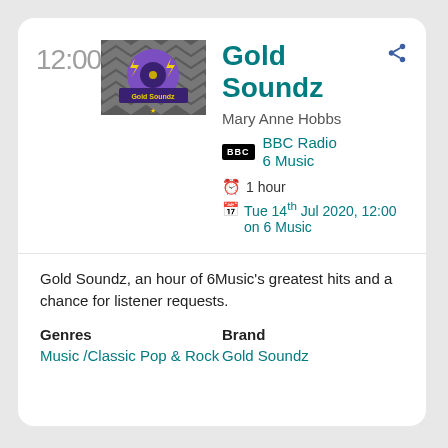12:00
[Figure (logo): Gold Soundz show logo — vinyl record with lightning bolts on purple/grey chevron background]
Gold Soundz
Mary Anne Hobbs
BBC Radio 6 Music
1 hour
Tue 14th Jul 2020, 12:00 on 6 Music
Gold Soundz, an hour of 6Music's greatest hits and a chance for listener requests.
Genres
Music /Classic Pop & Rock
Brand
Gold Soundz